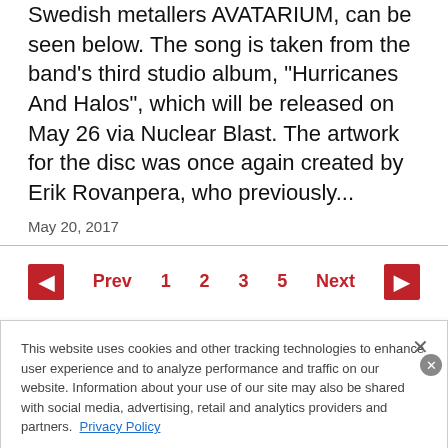Swedish metallers AVATARIUM, can be seen below. The song is taken from the band's third studio album, "Hurricanes And Halos", which will be released on May 26 via Nuclear Blast. The artwork for the disc was once again created by Erik Rovanpera, who previously...
May 20, 2017
Prev  1  2  3  5  Next
This website uses cookies and other tracking technologies to enhance user experience and to analyze performance and traffic on our website. Information about your use of our site may also be shared with social media, advertising, retail and analytics providers and partners.  Privacy Policy
[Figure (other): Wayfair advertisement banner: Top Appliances Low Prices, with image of appliance and Shop now button]